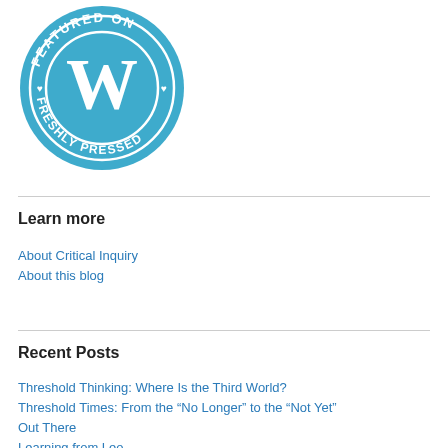[Figure (logo): WordPress 'Featured on Freshly Pressed' circular badge. Blue circle with white WordPress 'W' logo in the center, text 'FEATURED ON' at the top and 'FRESHLY PRESSED' at the bottom, with small heart symbols on both sides.]
Learn more
About Critical Inquiry
About this blog
Recent Posts
Threshold Thinking: Where Is the Third World?
Threshold Times: From the “No Longer” to the “Not Yet”
Out There
Learning from Leo